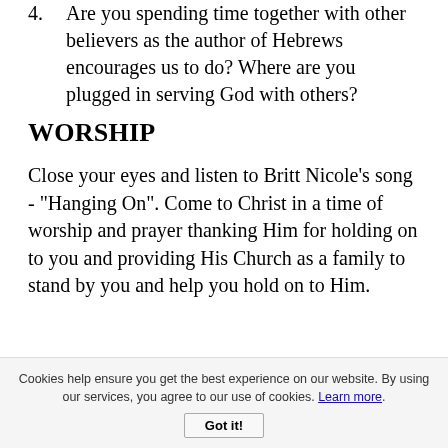4. Are you spending time together with other believers as the author of Hebrews encourages us to do?  Where are you plugged in serving God with others?
WORSHIP
Close your eyes and listen to Britt Nicole's song - "Hanging On".  Come to Christ in a time of worship and prayer thanking Him for holding on to you and providing His Church as a family to stand by you and help you hold on to Him.
Cookies help ensure you get the best experience on our website. By using our services, you agree to our use of cookies. Learn more. Got it!